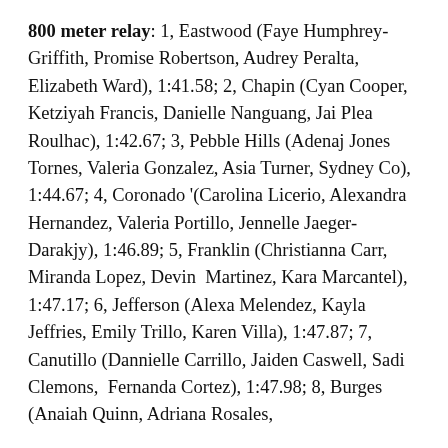800 meter relay: 1, Eastwood (Faye Humphrey-Griffith, Promise Robertson, Audrey Peralta, Elizabeth Ward), 1:41.58; 2, Chapin (Cyan Cooper, Ketziyah Francis, Danielle Nanguang, Jai Plea Roulhac), 1:42.67; 3, Pebble Hills (Adenaj Jones Tornes, Valeria Gonzalez, Asia Turner, Sydney Co), 1:44.67; 4, Coronado '(Carolina Licerio, Alexandra Hernandez, Valeria Portillo, Jennelle Jaeger-Darakjy), 1:46.89; 5, Franklin (Christianna Carr, Miranda Lopez, Devin  Martinez, Kara Marcantel), 1:47.17; 6, Jefferson (Alexa Melendez, Kayla Jeffries, Emily Trillo, Karen Villa), 1:47.87; 7, Canutillo (Dannielle Carrillo, Jaiden Caswell, Sadi Clemons,  Fernanda Cortez), 1:47.98; 8, Burges (Anaiah Quinn, Adriana Rosales,